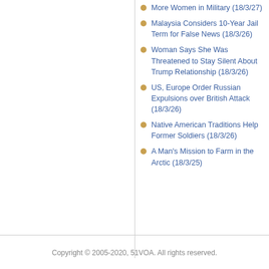More Women in Military (18/3/27)
Malaysia Considers 10-Year Jail Term for False News (18/3/26)
Woman Says She Was Threatened to Stay Silent About Trump Relationship (18/3/26)
US, Europe Order Russian Expulsions over British Attack (18/3/26)
Native American Traditions Help Former Soldiers (18/3/26)
A Man's Mission to Farm in the Arctic (18/3/25)
Copyright © 2005-2020, 51VOA. All rights reserved.